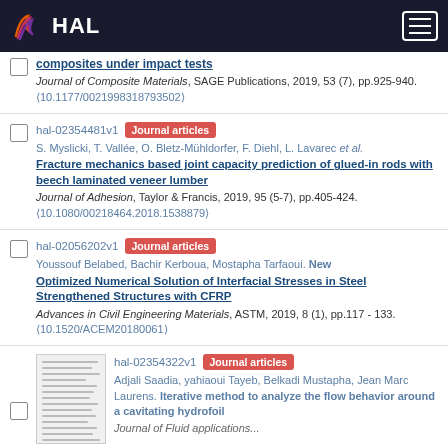HAL
composites under impact tests
Journal of Composite Materials, SAGE Publications, 2019, 53 (7), pp.925-940. (10.1177/0021998318793502)
hal-02354481v1 Journal articles
S. Myslicki, T. Vallée, O. Bletz-Mühldorfer, F. Diehl, L. Lavarec et al.
Fracture mechanics based joint capacity prediction of glued-in rods with beech laminated veneer lumber
Journal of Adhesion, Taylor & Francis, 2019, 95 (5-7), pp.405-424. (10.1080/00218464.2018.1538879)
hal-02056202v1 Journal articles
Youssouf Belabed, Bachir Kerboua, Mostapha Tarfaoui. New Optimized Numerical Solution of Interfacial Stresses in Steel Strengthened Structures with CFRP
Advances in Civil Engineering Materials, ASTM, 2019, 8 (1), pp.117 - 133. (10.1520/ACEM20180061)
hal-02354322v1 Journal articles
Adjali Saadia, yahiaoui Tayeb, Belkadi Mustapha, Jean Marc Laurens. Iterative method to analyze the flow behavior around a cavitating hydrofoil
Journal of Fluid applications...